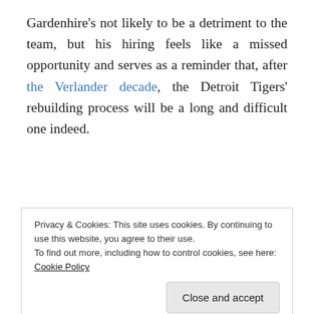Gardenhire's not likely to be a detriment to the team, but his hiring feels like a missed opportunity and serves as a reminder that, after the Verlander decade, the Detroit Tigers' rebuilding process will be a long and difficult one indeed.
October 19, 2017   💬 2 Replies
Daily fantasy sports site argues that DFS is illegal in
Privacy & Cookies: This site uses cookies. By continuing to use this website, you agree to their use.
To find out more, including how to control cookies, see here: Cookie Policy